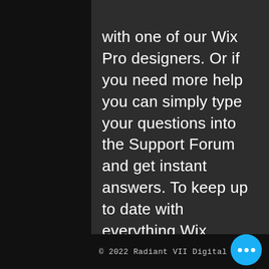with one of our Wix Pro designers. Or if you need more help you can simply type your questions into the Support Forum and get instant answers. To keep up to date with everything Wix, including tips and things we think are cool, just head to the Wix Blog!
[Figure (illustration): Handwritten signature reading 'Alevek.' or similar]
© 2022 Radiant VII Digital Venture